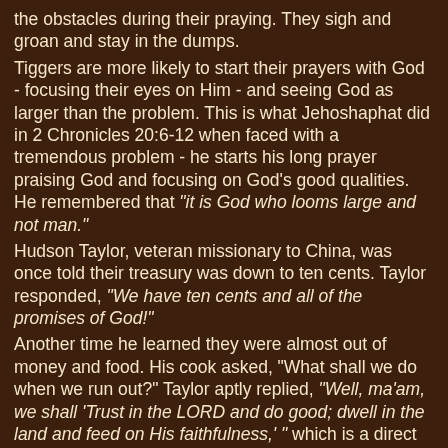the obstacles during their praying. They sigh and groan and stay in the dumps. Tiggers are more likely to start their prayers with God - focusing their eyes on Him - and seeing God as larger than the problem. This is what Jehoshaphat did in 2 Chronicles 20:6-12 when faced with a tremendous problem - he starts his long prayer praising God and focusing on God's good qualities. He remembered that "it is God who looms large and not man." Hudson Taylor, veteran missionary to China, was once told their treasury was down to ten cents. Taylor responded, "We have ten cents and all of the promises of God!" Another time he learned they were almost out of money and food. His cook asked, "What shall we do when we run out?" Taylor aptly replied, "Well, ma'am, we shall 'Trust in the LORD and do good; dwell in the land and feed on His faithfulness,' " which is a direct quotation from Psalm 37. Suicide shows the ultimate Eeyore reasoning - "there is no way out of this mess. I may as well give up." Remember, even when things look bleak, instead of giving into despair, you always have another option. Sometimes we just haven't seen it yet. I encourage you to read Paul's short story here.